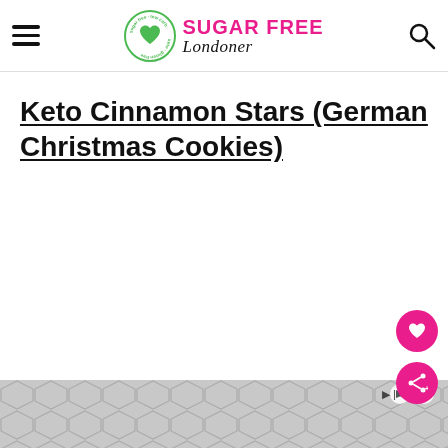Sugar Free Londoner
Keto Cinnamon Stars (German Christmas Cookies)
[Figure (other): Floating save/share action buttons on right side: pink heart button and pink share button]
[Figure (other): Advertisement banner with grey geometric hexagon pattern at bottom of page, with play/close icons]